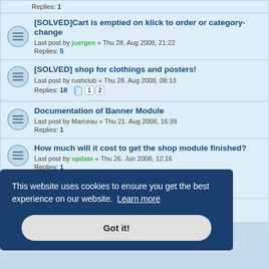Replies: 1
[SOLVED]Cart is emptied on klick to order or category-change
Last post by juergen « Thu 28. Aug 2008, 21:22
Replies: 5
[SOLVED] shop for clothings and posters!
Last post by rushclub « Thu 28. Aug 2008, 08:13
Replies: 18
Documentation of Banner Module
Last post by Marceau « Thu 21. Aug 2008, 16:39
Replies: 1
How much will it cost to get the shop module finished?
Last post by update « Thu 26. Jun 2008, 12:16
Replies: 1
[SOLVED] Error with shop module and ...
This website uses cookies to ensure you get the best experience on our website. Learn more
Got it!